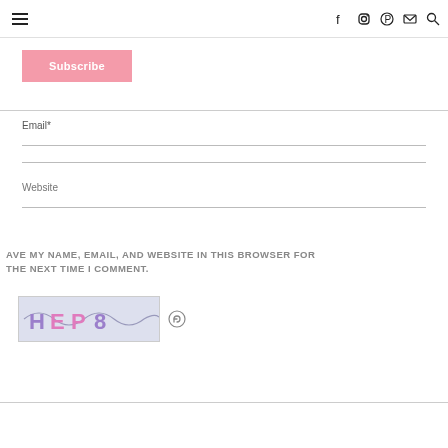Navigation bar with hamburger menu and social icons (Facebook, Instagram, Pinterest, Email, Search)
Subscribe
Email*
Website
AVE MY NAME, EMAIL, AND WEBSITE IN THIS BROWSER FOR THE NEXT TIME I COMMENT.
[Figure (other): CAPTCHA image showing stylized text 'HEP 8' with pink and purple letters on a light background, with a refresh icon beside it]